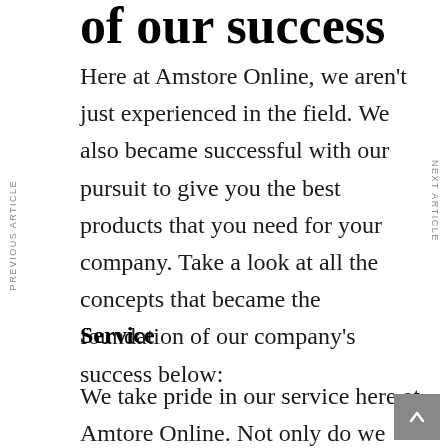of our success
Here at Amstore Online, we aren't just experienced in the field. We also became successful with our pursuit to give you the best products that you need for your company. Take a look at all the concepts that became the foundation of our company's success below:
Service
We take pride in our service here at Amtore Online. Not only do we bring